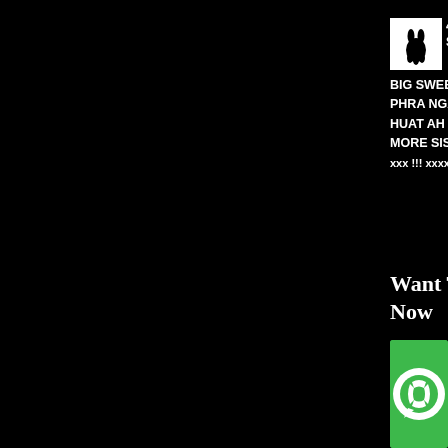[Figure (logo): Small white box with a black rabbit/hand logo]
4D WIN SIS !!! 4 BIG SWEEP WIN PHRA NGAN & R HUAT AH !!! MAY MORE SIS !!! xxxxxxxxxxx !!! xxxxxxxxx !!!
Want To K Now
[Figure (illustration): Green WhatsApp-style icon, partially cropped]